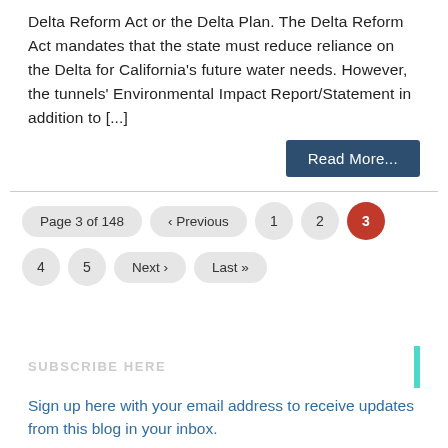Delta Reform Act or the Delta Plan. The Delta Reform Act mandates that the state must reduce reliance on the Delta for California's future water needs. However, the tunnels' Environmental Impact Report/Statement in addition to [...]
Read More...
Page 3 of 148 · Previous · 1 · 2 · 3 · 4 · 5 · Next › · Last »
SUBSCRIBE HERE
Sign up here with your email address to receive updates from this blog in your inbox.